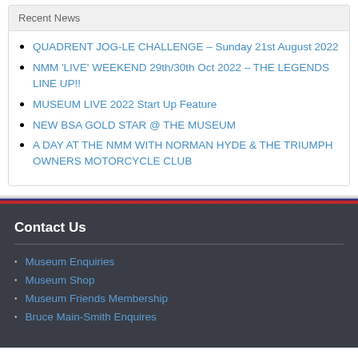Recent News
QUADRENT JOG-LE CHALLENGE – Sunday 21st August 2022
NMM 'LIVE' WEEKEND 29th/30th Oct 2022 – THE LEGENDS LINE UP!!
MUSEUM LIVE 2022 Start Up Feature
NEW BSA GOLD STAR @ THE MUSEUM
A DAY AT THE NMM WITH NORMAN HYDE & THE TRIUMPH OWNERS MOTORCYCLE CLUB
Contact Us
Museum Enquiries
Museum Shop
Museum Friends Membership
Bruce Main-Smith Enquires